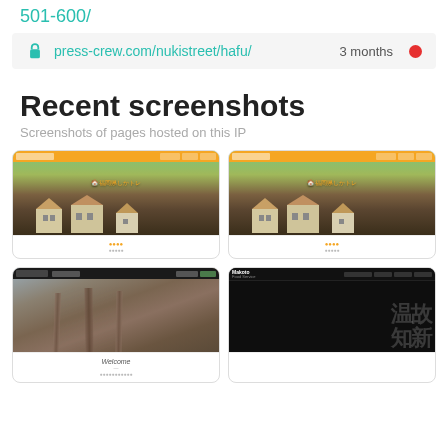501-600/
press-crew.com/nukistreet/hafu/    3 months
Recent screenshots
Screenshots of pages hosted on this IP
[Figure (screenshot): Screenshot of Japanese real estate website with orange navbar and house models over blurred greenfield background]
[Figure (screenshot): Screenshot of Japanese real estate website (duplicate), orange navbar and house models]
[Figure (screenshot): Screenshot of a Japanese construction company website with dark navbar and wooden construction site photo, Welcome text below]
[Figure (screenshot): Screenshot of Makoto Food Service website with black background and Japanese kanji characters in light grey]